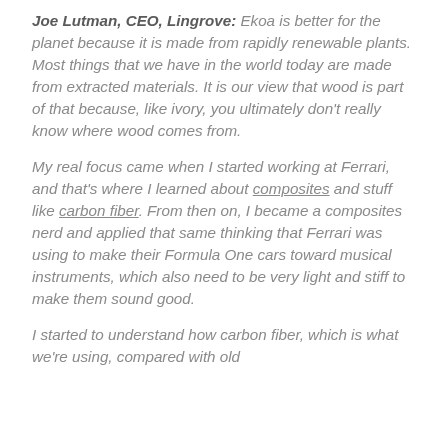Joe Lutman, CEO, Lingrove: Ekoa is better for the planet because it is made from rapidly renewable plants. Most things that we have in the world today are made from extracted materials. It is our view that wood is part of that because, like ivory, you ultimately don't really know where wood comes from.
My real focus came when I started working at Ferrari, and that's where I learned about composites and stuff like carbon fiber. From then on, I became a composites nerd and applied that same thinking that Ferrari was using to make their Formula One cars toward musical instruments, which also need to be very light and stiff to make them sound good.
I started to understand how carbon fiber, which is what we're using, compared with old...